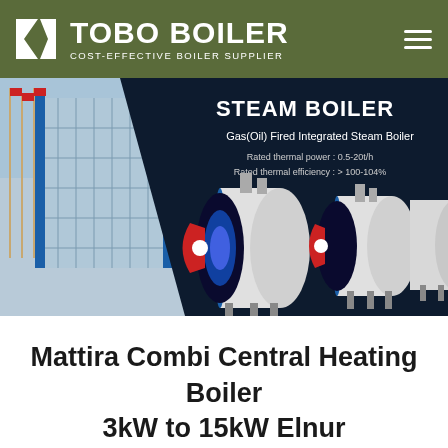[Figure (logo): TOBO BOILER logo with white K-shaped icon and text 'TOBO BOILER' and subtitle 'COST-EFFECTIVE BOILER SUPPLIER' on olive green background, with hamburger menu icon on right]
[Figure (screenshot): Website banner showing steam boilers on dark navy background. Left side shows a building with flags. Right side shows text 'STEAM BOILER', 'Gas(Oil) Fired Integrated Steam Boiler', 'Rated thermal power: 0.5-20t/h', 'Rated thermal efficiency: > 100-104%', and images of industrial cylindrical steam boilers in white and blue.]
Mattira Combi Central Heating Boiler 3kW to 15kW Elnur